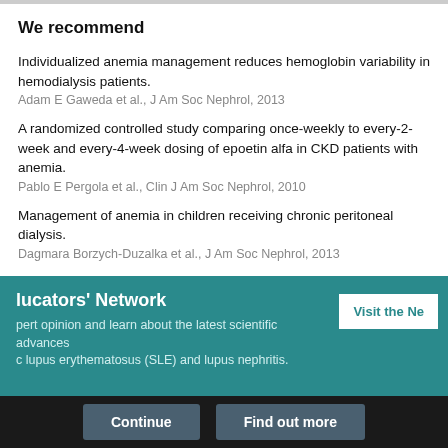We recommend
Individualized anemia management reduces hemoglobin variability in hemodialysis patients.
Adam E Gaweda et al., J Am Soc Nephrol, 2013
A randomized controlled study comparing once-weekly to every-2-week and every-4-week dosing of epoetin alfa in CKD patients with anemia.
Pablo E Pergola et al., Clin J Am Soc Nephrol, 2010
Management of anemia in children receiving chronic peritoneal dialysis.
Dagmara Borzych-Duzalka et al., J Am Soc Nephrol, 2013
Erythropoietin therapy and left ventricular mass index in CKD and ESRD patients: a meta-analysis.
Patrick S Parfrey et al., Clin J Am Soc Nephrol, 2009
[Figure (infographic): Teal banner for Educators' Network with Visit the Network button, and bottom bar with Continue and Find out more buttons]